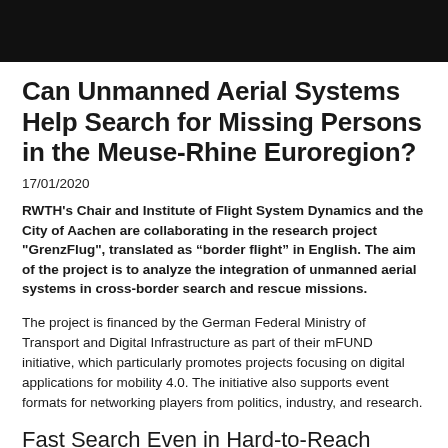Can Unmanned Aerial Systems Help Search for Missing Persons in the Meuse-Rhine Euroregion?
17/01/2020
RWTH's Chair and Institute of Flight System Dynamics and the City of Aachen are collaborating in the research project "GrenzFlug", translated as “border flight” in English. The aim of the project is to analyze the integration of unmanned aerial systems in cross-border search and rescue missions.
The project is financed by the German Federal Ministry of Transport and Digital Infrastructure as part of their mFUND initiative, which particularly promotes projects focusing on digital applications for mobility 4.0. The initiative also supports event formats for networking players from politics, industry, and research.
Fast Search Even in Hard-to-Reach Areas